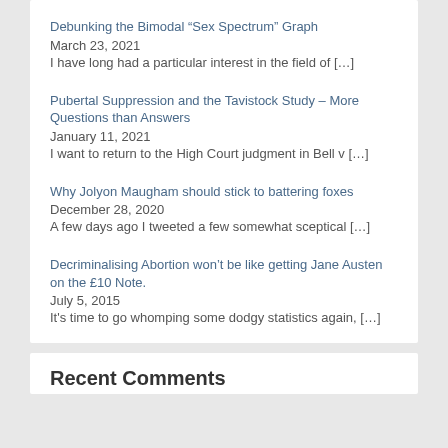Debunking the Bimodal “Sex Spectrum” Graph
March 23, 2021
I have long had a particular interest in the field of […]
Pubertal Suppression and the Tavistock Study – More Questions than Answers
January 11, 2021
I want to return to the High Court judgment in Bell v […]
Why Jolyon Maugham should stick to battering foxes
December 28, 2020
A few days ago I tweeted a few somewhat sceptical […]
Decriminalising Abortion won’t be like getting Jane Austen on the £10 Note.
July 5, 2015
It's time to go whomping some dodgy statistics again, […]
Recent Comments